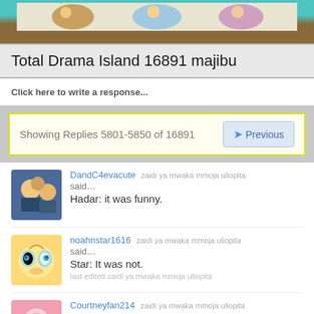[Figure (illustration): Top banner with anime/cartoon characters on teal and brown background]
Total Drama Island 16891 majibu
Click here to write a response...
Showing Replies 5801-5850 of 16891
Previous
DandC4evacute   zaidi ya mwaka mmoja uliopita
said…
Hadar: it was funny.
noahnstar1616   zaidi ya mwaka mmoja uliopita
said…
Star: It was not.
last edited zaidi ya mwaka mmoja uliopita
Courtneyfan214   zaidi ya mwaka mmoja uliopita